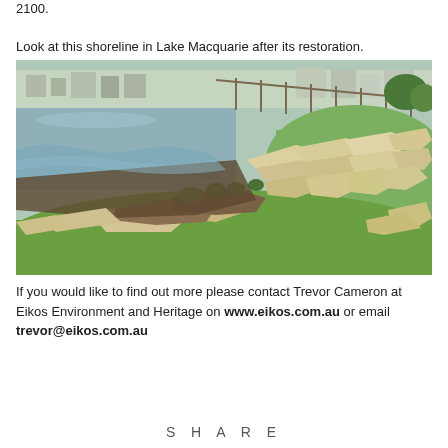2100.
Look at this shoreline in Lake Macquarie after its restoration.
[Figure (photo): Photograph of a restored shoreline at Lake Macquarie showing large sandstone rocks arranged along the lake edge, with grass, small plantings, and lake water visible. Buildings and trees are in the background.]
If you would like to find out more please contact Trevor Cameron at Eikos Environment and Heritage on www.eikos.com.au or email trevor@eikos.com.au
SHARE